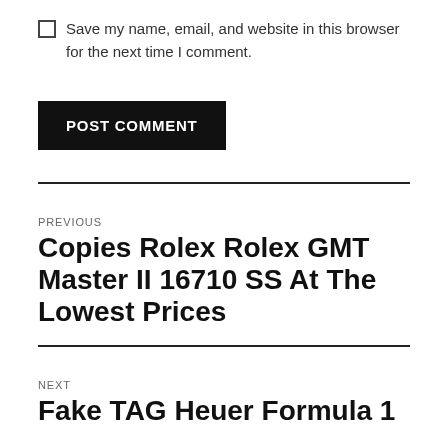Save my name, email, and website in this browser for the next time I comment.
POST COMMENT
PREVIOUS
Copies Rolex Rolex GMT Master II 16710 SS At The Lowest Prices
NEXT
Fake TAG Heuer Formula 1